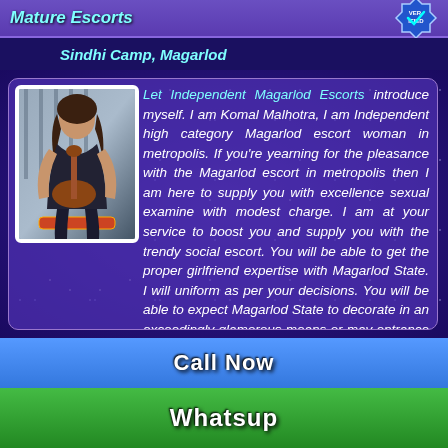Mature Escorts
Sindhi Camp, Magarlod
[Figure (photo): Photo of a young woman holding a musical instrument, in a decorative frame]
Let Independent Magarlod Escorts introduce myself. I am Komal Malhotra, I am Independent high category Magarlod escort woman in metropolis. If you're yearning for the pleasance with the Magarlod escort in metropolis then I am here to supply you with excellence sexual examine with modest charge. I am at your service to boost you and supply you with the trendy social escort. You will be able to get the proper girlfriend expertise with Magarlod State. I will uniform as per your decisions. You will be able to expect Magarlod State to decorate in an exceedingly glamorous means or may entrance you with my attractive and comfortable fashion.
Call Now
Whatsup